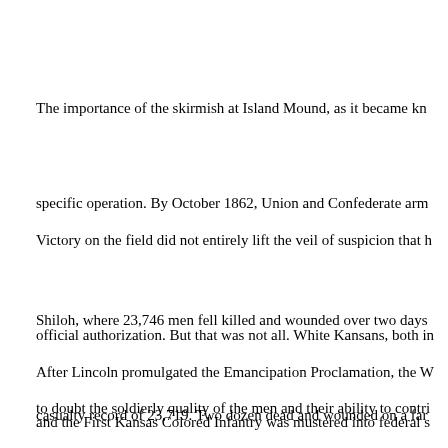The importance of the skirmish at Island Mound, as it became known, lay not in the specific operation. By October 1862, Union and Confederate armies had clashed at Shiloh, where 23,746 men fell killed and wounded over two days, and Antietam posted a casualty record of 23,719. Two dozen dead and wounded on a farm in Missouri barely warranted mention beyond the local communities. Nonetheless, the skirmish at Island Mound in the fall of 1862 marked an important milestone. It was there that Black men fought in the American Civil War for the first time. And they won. (97)
Victory on the field did not entirely lift the veil of suspicion that had surrounded their official authorization. But that was not all. White Kansans, both in uniform and out, began to doubt the soldierly quality of the men and their ability to contribute to preserving the Union and vanquishing the Confederacy. White Missourians, both sides, regarded the unit with contempt. Unionists considered the black troops little better than bandits, while secessionist sympathizers viewed them simply as insurrectionists.
After Lincoln promulgated the Emancipation Proclamation, the War Department relented and the First Kansas Colored Infantry was mustered into federal service. Appropriately on the occasion, the mustering officer noted the unit's potential "to serve the cause of breaking the bond, and restoring the Union to greater than its pristine glory". Almost immediately, Captain Matthews and Lieutenant Minor, the two black officers, were forced out because of their color. The protests of their fellow officers fell on deaf ears. Despite that, the unit got back to work engaging the enemy. Indeed, over the remainder of the war it would take its place among the hardest–fighting regiments of the war," Spurgeon noted, but at a terrible price. Guerrillas from Arkansas flipped Union Gen. Benjamin Bu